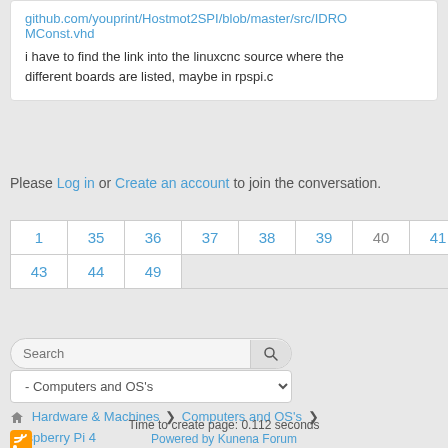github.com/youprint/Hostmot2SPI/blob/master/src/IDROMConst.vhd
i have to find the link into the linuxcnc source where the different boards are listed, maybe in rpspi.c
Please Log in or Create an account to join the conversation.
| 1 | 35 | 36 | 37 | 38 | 39 | 40 | 41 | 42 |
| 43 | 44 | 49 |
[Figure (screenshot): Search input box with magnifying glass button]
[Figure (screenshot): Dropdown selector showing '- Computers and OS's']
Hardware & Machines > Computers and OS's > Raspberry Pi 4
[Figure (logo): RSS feed orange icon]
Time to create page: 0.112 seconds
Powered by Kunena Forum